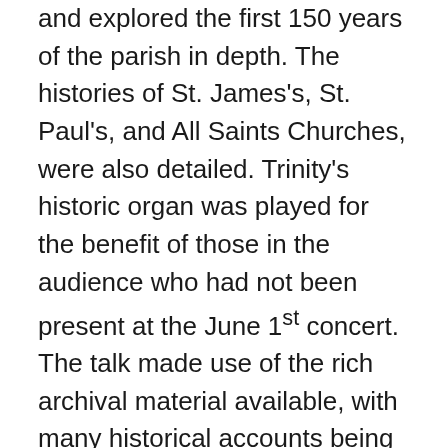and explored the first 150 years of the parish in depth. The histories of St. James's, St. Paul's, and All Saints Churches, were also detailed. Trinity's historic organ was played for the benefit of those in the audience who had not been present at the June 1st concert. The talk made use of the rich archival material available, with many historical accounts being read to the audience. The entire presentation was illustrated by documents and photographs which were distributed to those in attendance. Artifacts and documents from the parish's history, with material being loaned from the John Fisher Memorial Museum, were displayed at the front of the church for the audience to see. The freewill offering garnered by this